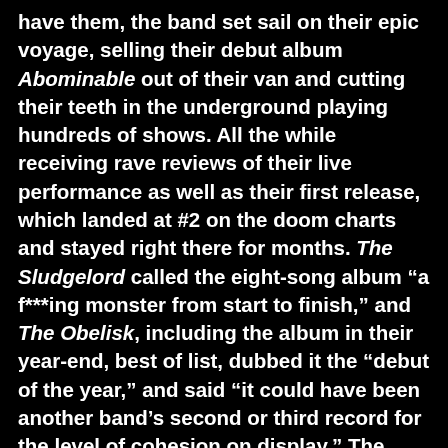have them, the band set sail on their epic voyage, selling their debut album Abominable out of their van and cutting their teeth in the underground playing hundreds of shows. All the while receiving rave reviews of their live performance as well as their first release, which landed at #2 on the doom charts and stayed right there for months. The Sludgelord called the eight-song album “a f***ing monster from start to finish,” and The Obelisk, including the album in their year-end, best of list, dubbed it the “debut of the year,” and said “it could have been another band’s second or third record for the level of cohesion on display.” The video for “Stoned and Feathered” quickly racked up a few hundred thousand views and counting. It was at this time that Telekinetic Yeti caught the attention of Ozzy Osbourne bass player, Blasko, who named Abominable on his “5 favorites” list. People were starting to catch on, and soon thereafter